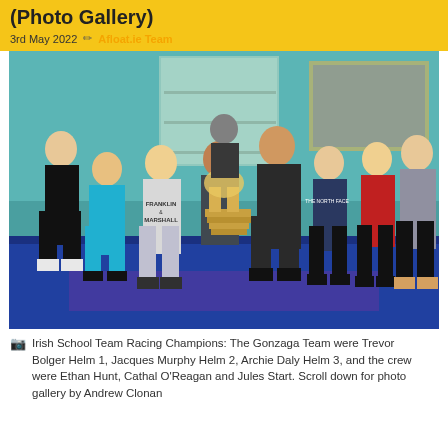(Photo Gallery)
3rd May 2022 ✏ Afloat.ie Team
[Figure (photo): Group photo of the Gonzaga Irish School Team Racing Champions holding a trophy, standing indoors in a formal room with a blue carpet and trophies on shelves in background. Nine people total including youth sailors and adults.]
Irish School Team Racing Champions: The Gonzaga Team were Trevor Bolger Helm 1, Jacques Murphy Helm 2, Archie Daly Helm 3, and the crew were Ethan Hunt, Cathal O'Reagan and Jules Start. Scroll down for photo gallery by Andrew Clonan